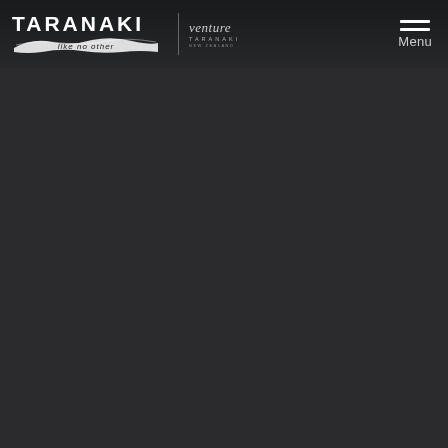TARANAKI like no other | venture TARANAKI | Menu
[Figure (logo): Taranaki 'like no other' logo with brush stroke treatment and venture Taranaki co-brand logo, plus hamburger Menu icon on the right]